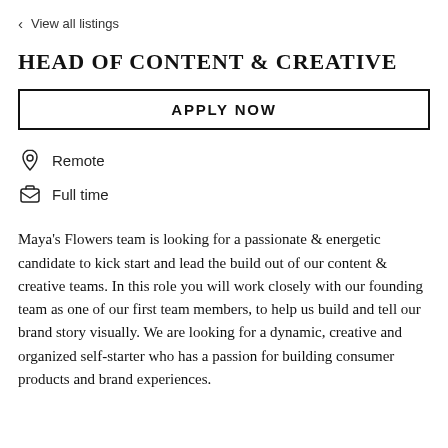< View all listings
HEAD OF CONTENT & CREATIVE
APPLY NOW
Remote
Full time
Maya's Flowers team is looking for a passionate & energetic candidate to kick start and lead the build out of our content & creative teams. In this role you will work closely with our founding team as one of our first team members, to help us build and tell our brand story visually. We are looking for a dynamic, creative and organized self-starter who has a passion for building consumer products and brand experiences.